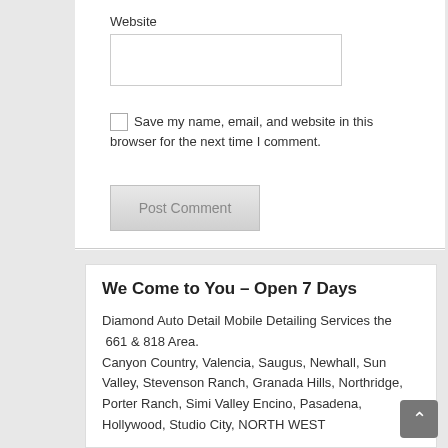Website
Save my name, email, and website in this browser for the next time I comment.
Post Comment
We Come to You – Open 7 Days
Diamond Auto Detail Mobile Detailing Services the  661 & 818 Area.
Canyon Country, Valencia, Saugus, Newhall, Sun Valley, Stevenson Ranch, Granada Hills, Northridge, Porter Ranch, Simi Valley Encino, Pasadena, Hollywood, Studio City, NORTH WEST